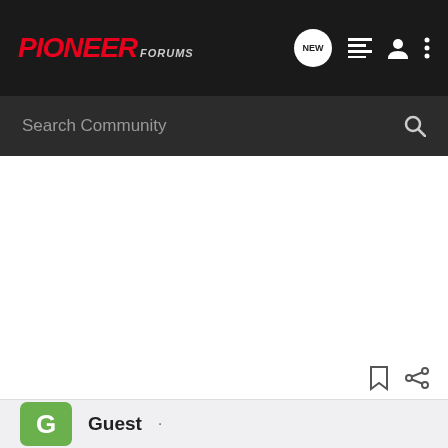PIONEER FORUMS
Search Community
Guest ·
Discussion Starter · #12 · Jun 2, 2003
Does anyone know the price poiints for the 'Fun Mover'?